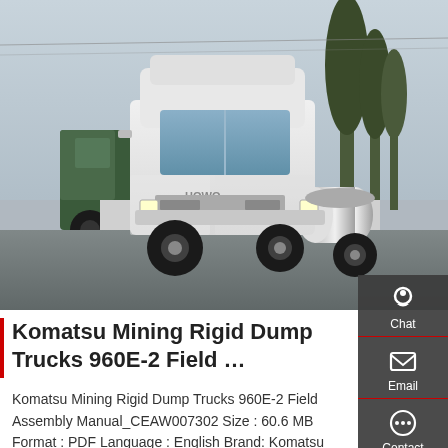[Figure (photo): White Sinotruk/HOWO semi-truck tractor unit parked in a lot, with a green truck visible to the left and trees in the background. Sky is overcast.]
Komatsu Mining Rigid Dump Trucks 960E-2 Field …
Komatsu Mining Rigid Dump Trucks 960E-2 Field Assembly Manual_CEAW007302 Size : 60.6 MB Format : PDF Language : English Brand: Komatsu Type of machine: Mining Rigid Dump Truck Type of document: Field Assembly Manual Model: Komatsu Mining Rigid Dump Trucks 960E-2 Number of Pages: 370 Pages Serial Numbers: A90007-UP From N...